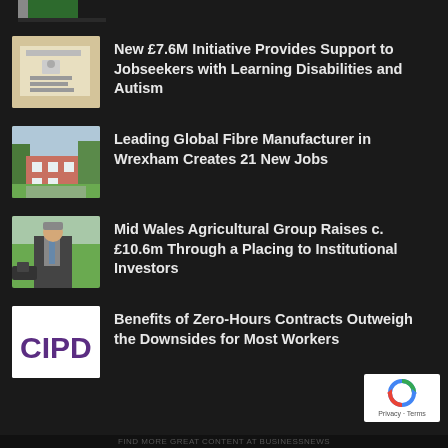[Figure (photo): Partial top of image, green flag visible, cropped]
[Figure (photo): Corton House Department for Work and Pensions building sign]
New £7.6M Initiative Provides Support to Jobseekers with Learning Disabilities and Autism
[Figure (photo): Red brick building with trees, likely office or institutional building]
Leading Global Fibre Manufacturer in Wrexham Creates 21 New Jobs
[Figure (photo): Portrait of a man in suit with tie, with cows in background]
Mid Wales Agricultural Group Raises c. £10.6m Through a Placing to Institutional Investors
[Figure (logo): CIPD logo in purple text on white background]
Benefits of Zero-Hours Contracts Outweigh the Downsides for Most Workers
FIND MORE GREAT CONTENT AT BUSINESSNEWS